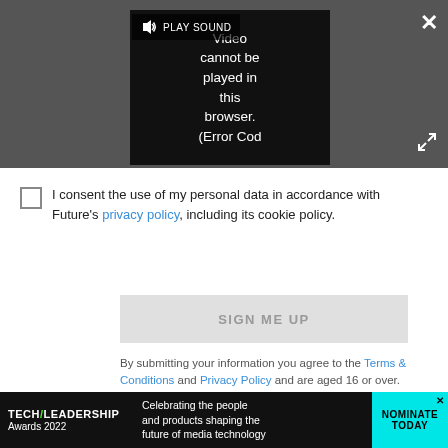[Figure (screenshot): Video player area with dark background showing 'Video cannot be played in this browser. (Error Cod' message, a PLAY SOUND button, a close X button, and an expand/fullscreen button.]
I consent the use of my personal data in accordance with Future's privacy policy, including its cookie policy.
SIGN ME UP
By submitting your information you agree to the Terms & Conditions and Privacy Policy and are aged 16 or over.
MOST READ
[Figure (screenshot): Ad banner: TECH/LEADERSHIP Awards 2022 - Celebrating the people and products shaping the future of media technology. NOMINATE TODAY button.]